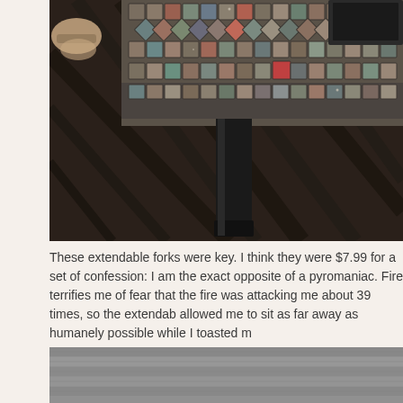[Figure (photo): Photo of a mosaic tile-topped coffee table/fire pit with black metal legs, viewed from above at an angle, on a dark wood floor. A person's feet in sandals are visible in the upper left corner.]
These extendable forks were key. I think they were $7.99 for a set of confession: I am the exact opposite of a pyromaniac. Fire terrifies me of fear that the fire was attacking me about 39 times, so the extendab allowed me to sit as far away as humanely possible while I toasted m
[Figure (photo): Partial photo showing a gray wooden deck or floor surface viewed from above.]